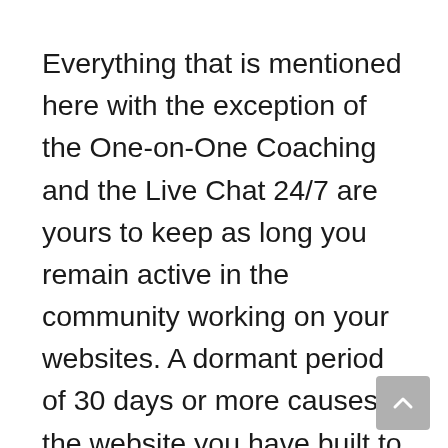Everything that is mentioned here with the exception of the One-on-One Coaching and the Live Chat 24/7 are yours to keep as long you remain active in the community working on your websites. A dormant period of 30 days or more causes the website you have built to be removed from the free hosting.  These are good for 6 months for you to work to see this is right for you.  Free Hosting Included.